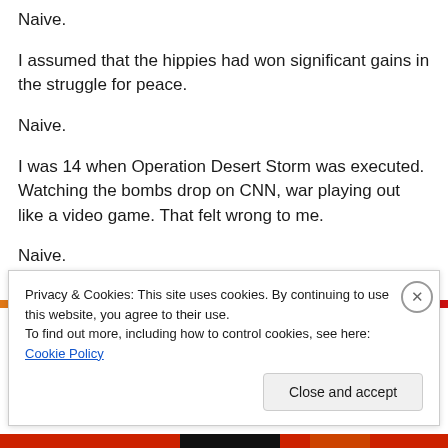Naive.
I assumed that the hippies had won significant gains in the struggle for peace.
Naive.
I was 14 when Operation Desert Storm was executed. Watching the bombs drop on CNN, war playing out like a video game. That felt wrong to me.
Naive.
Privacy & Cookies: This site uses cookies. By continuing to use this website, you agree to their use.
To find out more, including how to control cookies, see here: Cookie Policy